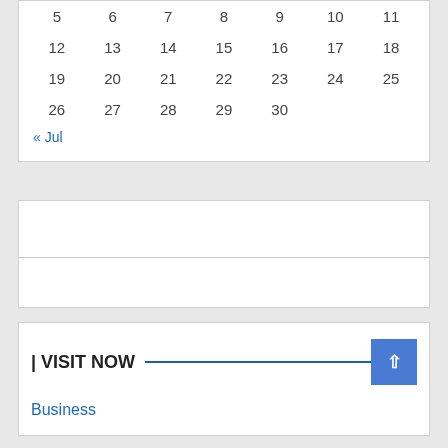| 5 | 6 | 7 | 8 | 9 | 10 | 11 |
| 12 | 13 | 14 | 15 | 16 | 17 | 18 |
| 19 | 20 | 21 | 22 | 23 | 24 | 25 |
| 26 | 27 | 28 | 29 | 30 |  |  |
« Jul
| VISIT NOW
Business